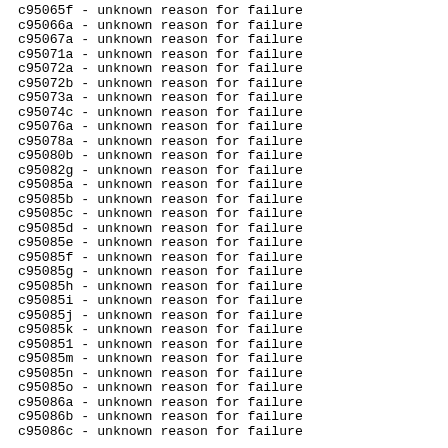c95065f - unknown reason for failure
c95066a - unknown reason for failure
c95067a - unknown reason for failure
c95071a - unknown reason for failure
c95072a - unknown reason for failure
c95072b - unknown reason for failure
c95073a - unknown reason for failure
c95074c - unknown reason for failure
c95076a - unknown reason for failure
c95078a - unknown reason for failure
c95080b - unknown reason for failure
c95082g - unknown reason for failure
c95085a - unknown reason for failure
c95085b - unknown reason for failure
c95085c - unknown reason for failure
c95085d - unknown reason for failure
c95085e - unknown reason for failure
c95085f - unknown reason for failure
c95085g - unknown reason for failure
c95085h - unknown reason for failure
c95085i - unknown reason for failure
c95085j - unknown reason for failure
c95085k - unknown reason for failure
c950851 - unknown reason for failure
c95085m - unknown reason for failure
c95085n - unknown reason for failure
c95085o - unknown reason for failure
c95086a - unknown reason for failure
c95086b - unknown reason for failure
c95086c - unknown reason for failure